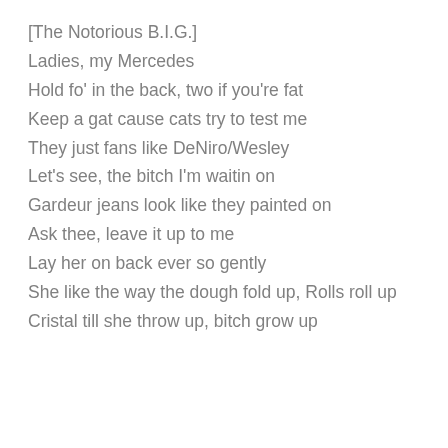[The Notorious B.I.G.]
Ladies, my Mercedes
Hold fo' in the back, two if you're fat
Keep a gat cause cats try to test me
They just fans like DeNiro/Wesley
Let's see, the bitch I'm waitin on
Gardeur jeans look like they painted on
Ask thee, leave it up to me
Lay her on back ever so gently
She like the way the dough fold up, Rolls roll up
Cristal till she throw up, bitch grow up